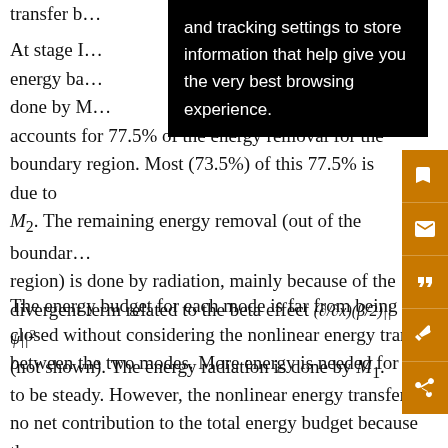transfer b...
At stage I... accounts for 77.5% of the energy removal for the boundary region. Most (73.5%) of this 77.5% is due to M2. The remaining energy removal (out of the boundary region) is done by radiation, mainly because of the divergent term related to the beta effect (∂/∂x)(β/2)||ψ||² (not shown). The energy radiation is done by M1.
The energy budget for each mode is far from being closed without considering the nonlinear energy transfer between the two modes. More energy is needed for M1 to be steady. However, the nonlinear energy transfer has no net contribution to the total energy budget because the energy